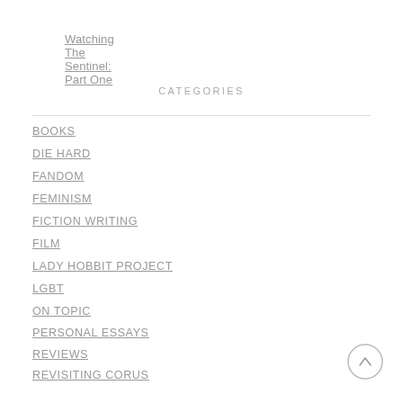Watching The Sentinel: Part One
CATEGORIES
BOOKS
DIE HARD
FANDOM
FEMINISM
FICTION WRITING
FILM
LADY HOBBIT PROJECT
LGBT
ON TOPIC
PERSONAL ESSAYS
REVIEWS
REVISITING CORUS
SEWING
STAR TREK
STAR TREK: DEEP SPACE NINE